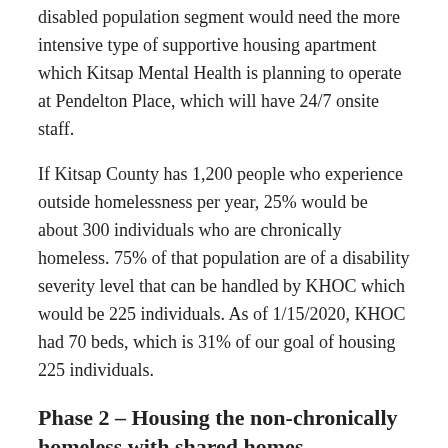disabled population segment would need the more intensive type of supportive housing apartment which Kitsap Mental Health is planning to operate at Pendelton Place, which will have 24/7 onsite staff.
If Kitsap County has 1,200 people who experience outside homelessness per year, 25% would be about 300 individuals who are chronically homeless. 75% of that population are of a disability severity level that can be handled by KHOC which would be 225 individuals. As of 1/15/2020, KHOC had 70 beds, which is 31% of our goal of housing 225 individuals.
Phase 2 – Housing the non-chronically homeless with shared homes
After KHOC has reached its goal of housing the 225 chronically homeless who need supportive housing, our next goal will be to house the next category of